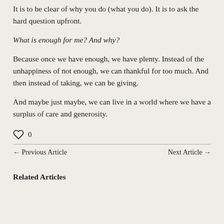It is to be clear of why you do (what you do). It is to ask the hard question upfront.
What is enough for me? And why?
Because once we have enough, we have plenty. Instead of the unhappiness of not enough, we can thankful for too much. And then instead of taking, we can be giving.
And maybe just maybe, we can live in a world where we have a surplus of care and generosity.
0
← Previous Article
Next Article →
Related Articles